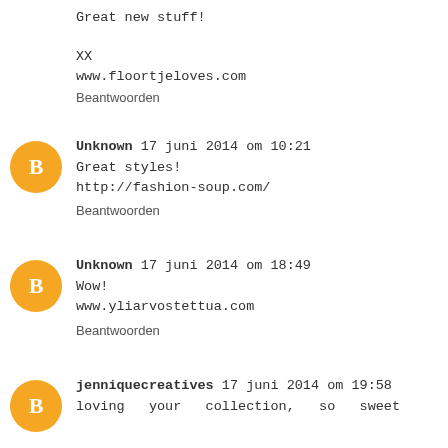Great new stuff!

XX
www.floortjeloves.com
Beantwoorden
Unknown 17 juni 2014 om 10:21
Great styles!
http://fashion-soup.com/
Beantwoorden
Unknown 17 juni 2014 om 18:49
Wow!
www.yliarvostettua.com
Beantwoorden
jenniquecreatives 17 juni 2014 om 19:58
loving your collection, so sweet